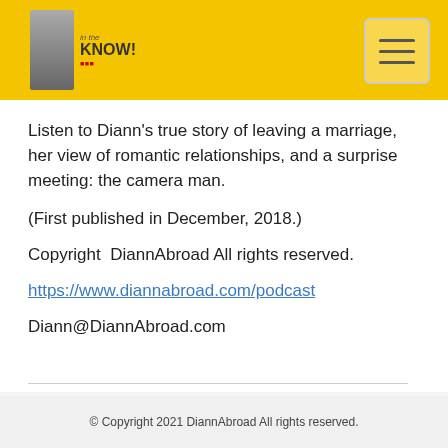In the Know! - DiannAbroad podcast
Listen to Diann's true story of leaving a marriage, her view of romantic relationships, and a surprise meeting: the camera man.
(First published in December, 2018.)
Copyright  DiannAbroad All rights reserved.
https://www.diannabroad.com/podcast
Diann@DiannAbroad.com
© Copyright 2021 DiannAbroad All rights reserved.